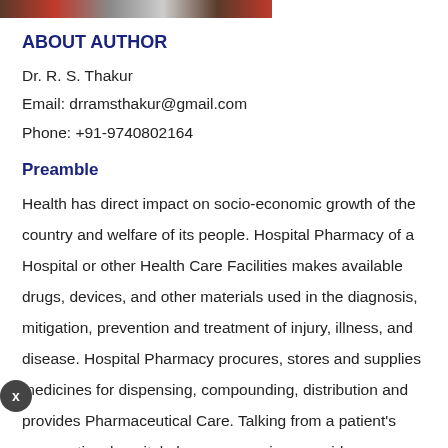[Figure (photo): Partial image strip at top of page showing a photograph]
ABOUT AUTHOR
Dr. R. S. Thakur
Email: drramsthakur@gmail.com
Phone: +91-9740802164
Preamble
Health has direct impact on socio-economic growth of the country and welfare of its people. Hospital Pharmacy of a Hospital or other Health Care Facilities makes available drugs, devices, and other materials used in the diagnosis, mitigation, prevention and treatment of injury, illness, and disease. Hospital Pharmacy procures, stores and supplies medicines for dispensing, compounding, distribution and provides Pharmaceutical Care. Talking from a patient's perspective, hospital pharmacy services provide medicines,